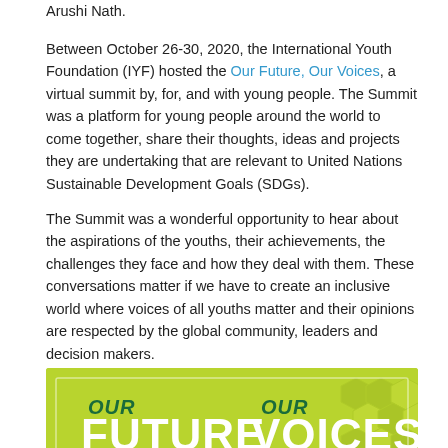Arushi Nath.
Between October 26-30, 2020, the International Youth Foundation (IYF) hosted the Our Future, Our Voices, a virtual summit by, for, and with young people. The Summit was a platform for young people around the world to come together, share their thoughts, ideas and projects they are undertaking that are relevant to United Nations Sustainable Development Goals (SDGs).
The Summit was a wonderful opportunity to hear about the aspirations of the youths, their achievements, the challenges they face and how they deal with them. These conversations matter if we have to create an inclusive world where voices of all youths matter and their opinions are respected by the global community, leaders and decision makers.
[Figure (illustration): Our Future, Our Voices event logo/banner on a bright yellow-green background with hexagonal pattern. Text reads: OUR FUTURE OUR VOICES - A VIRTUAL SUMMIT BY, FOR, AND WITH YOUNG PEOPLE - October 26-30, 2020. Arushi Nath name at bottom right.]